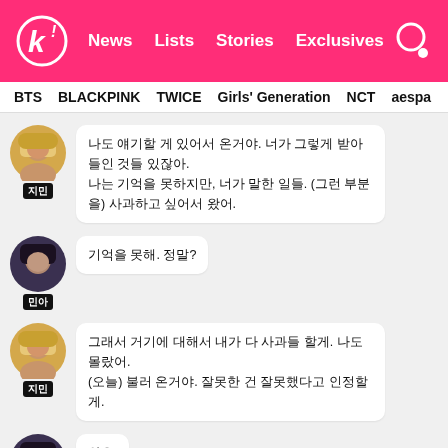k! News Lists Stories Exclusives
BTS BLACKPINK TWICE Girls' Generation NCT aespa
나도 얘기할 게 있어서 온거야. 너가 그렇게 받아들인 것들 있잖아. 나는 기억을 못하지만, 너가 말한 일들. (그런 부분을) 사과하고 싶어서 왔어.
기억을 못해. 정말?
그래서 거기에 대해서 내가 다 사과들 할게. 나도 몰랐어. (오늘) 불러 온거야. 잘못한 건 잘못했다고 인정할게.
와우.
(중략)
내가 널 많이 때렸어?